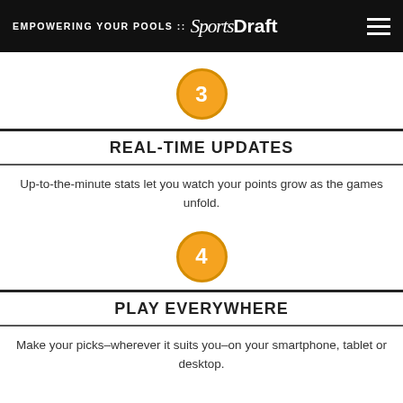EMPOWERING YOUR POOLS :: SportsDraft
[Figure (infographic): Orange circle badge with number 3]
REAL-TIME UPDATES
Up-to-the-minute stats let you watch your points grow as the games unfold.
[Figure (infographic): Orange circle badge with number 4]
PLAY EVERYWHERE
Make your picks–wherever it suits you–on your smartphone, tablet or desktop.